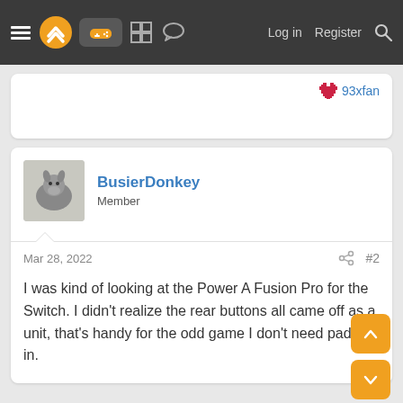Navigation bar with menu, logo, gamepad icon, grid icon, chat icon, Log in, Register, Search
❤ 93xfan
BusierDonkey
Member
Mar 28, 2022   #2
I was kind of looking at the Power A Fusion Pro for the Switch. I didn't realize the rear buttons all came off as a unit, that's handy for the odd game I don't need paddles in.